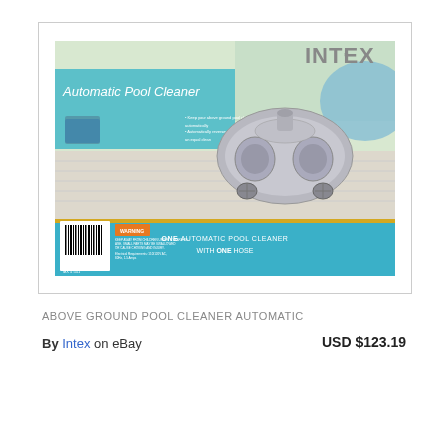[Figure (photo): Product packaging photo of Intex Automatic Pool Cleaner shown in its retail box. Box shows the pool cleaner device (silver/chrome colored) with 'INTEX' branding at top right, 'Automatic Pool Cleaner' text on teal/blue label at left side. Box also displays features bullet points, barcode, and 'ONE AUTOMATIC POOL CLEANER WITH ONE HOSE' text at bottom.]
ABOVE GROUND POOL CLEANER AUTOMATIC
By Intex on eBay
USD $123.19